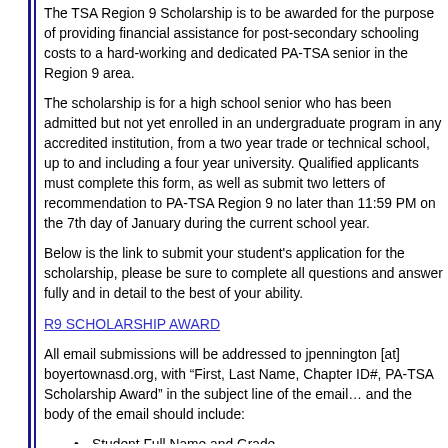The TSA Region 9 Scholarship is to be awarded for the purpose of providing financial assistance for post-secondary schooling costs to a hard-working and dedicated PA-TSA senior in the Region 9 area.
The scholarship is for a high school senior who has been admitted but not yet enrolled in an undergraduate program in any accredited institution, from a two year trade or technical school, up to and including a four year university. Qualified applicants must complete this form, as well as submit two letters of recommendation to PA-TSA Region 9 no later than 11:59 PM on the 7th day of January during the current school year.
Below is the link to submit your student's application for the scholarship, please be sure to complete all questions and answer fully and in detail to the best of your ability.
R9 SCHOLARSHIP AWARD
All email submissions will be addressed to jpennington [at] boyertownasd.org, with “First, Last Name, Chapter ID#, PA-TSA Scholarship Award” in the subject line of the email… and the body of the email should include:
Student Full Name and Grade
Student email address
School that the student is currently attending
Advisor Name – contact info